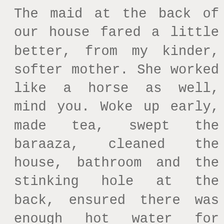The maid at the back of our house fared a little better, from my kinder, softer mother. She worked like a horse as well, mind you. Woke up early, made tea, swept the baraaza, cleaned the house, bathroom and the stinking hole at the back, ensured there was enough hot water for everybody's bath, water boiled on a charcoal burner mind you, helped